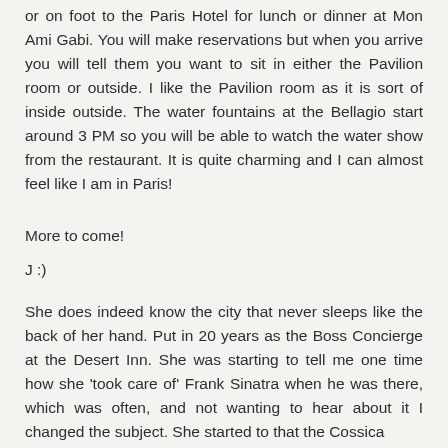or on foot to the Paris Hotel for lunch or dinner at Mon Ami Gabi. You will make reservations but when you arrive you will tell them you want to sit in either the Pavilion room or outside. I like the Pavilion room as it is sort of inside outside. The water fountains at the Bellagio start around 3 PM so you will be able to watch the water show from the restaurant. It is quite charming and I can almost feel like I am in Paris!
More to come!
J :)
She does indeed know the city that never sleeps like the back of her hand. Put in 20 years as the Boss Concierge at the Desert Inn. She was starting to tell me one time how she 'took care of' Frank Sinatra when he was there, which was often, and not wanting to hear about it I changed the subject. She started to that the Cossica